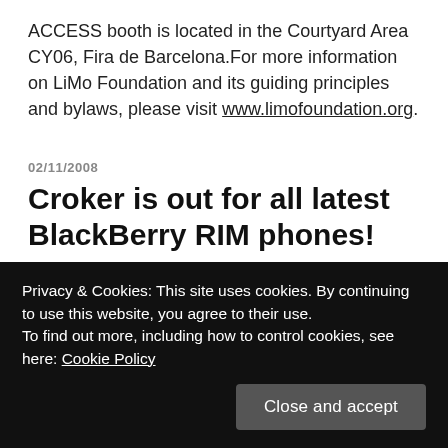ACCESS booth is located in the Courtyard Area CY06, Fira de Barcelona.For more information on LiMo Foundation and its guiding principles and bylaws, please visit www.limofoundation.org.
02/11/2008
Croker is out for all latest BlackBerry RIM phones!
“Croker is another fun & addicting game by CrazySoft. It is based on the ‘Poker’ idea twisted into a unique and
Privacy & Cookies: This site uses cookies. By continuing to use this website, you agree to their use.
To find out more, including how to control cookies, see here: Cookie Policy
earned.FEATURES:* Supports all latest devices.* 16bit